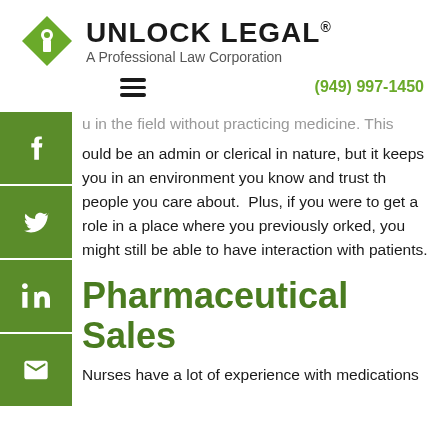[Figure (logo): Unlock Legal logo with green diamond/keyhole icon, bold text 'UNLOCK LEGAL®' and tagline 'A Professional Law Corporation']
(949) 997-1450
u in the field without practicing medicine. This ould be an admin or clerical in nature, but it keeps you in an environment you know and trust th people you care about. Plus, if you were to get a role in a place where you previously orked, you might still be able to have interaction with patients.
Pharmaceutical Sales
Nurses have a lot of experience with medications